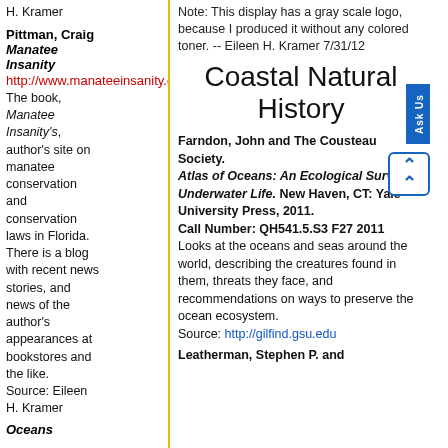H. Kramer
Pittman, Craig
Manatee Insanity
http://www.manateeinsanity.com/
The book, Manatee Insanity's, author's site on manatee conservation and conservation laws in Florida. There is a blog with recent news stories, and news of the author's appearances at bookstores and the like.
Source: Eileen H. Kramer
Oceans
Note: This display has a gray scale logo, because I produced it without any colored toner. -- Eileen H. Kramer 7/31/12
Coastal Natural History
Farndon, John and The Cousteau Society. Atlas of Oceans: An Ecological Survey of Underwater Life. New Haven, CT: Yale University Press, 2011.
Call Number: QH541.5.S3 F27 2011
Looks at the oceans and seas around the world, describing the creatures found in them, threats they face, and recommendations on ways to preserve the ocean ecosystem.
Source: http://gilfind.gsu.edu
Leatherman, Stephen P. and